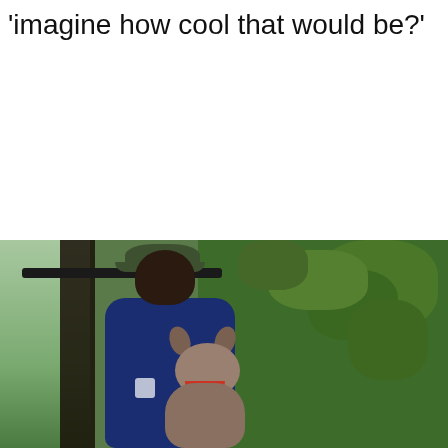'imagine how cool that would be?'
[Figure (photo): A person wearing a blue jacket and green cap standing near a metal railing, with a dog looking up with its mouth open, in front of green foliage background. Appears to be a video screenshot or meme image.]